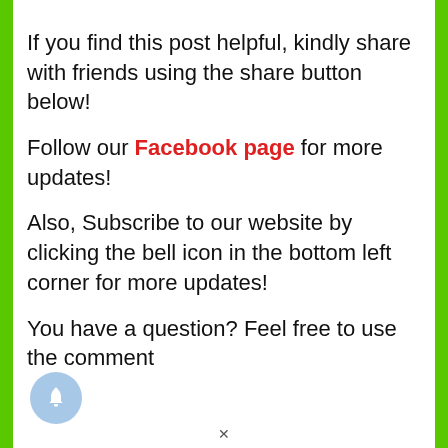If you find this post helpful, kindly share with friends using the share button below!
Follow our Facebook page for more updates!
Also, Subscribe to our website by clicking the bell icon in the bottom left corner for more updates!
You have a question? Feel free to use the comment
[Figure (illustration): Bell notification icon — light blue circle with a white bell symbol]